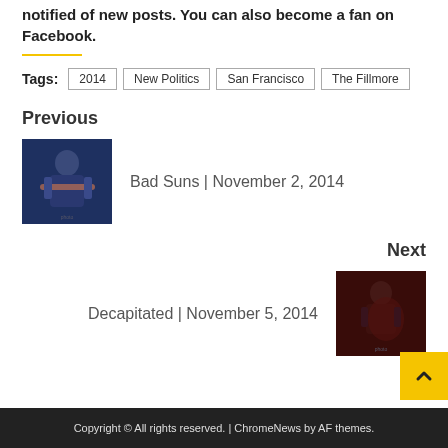notified of new posts. You can also become a fan on Facebook.
Tags: 2014  New Politics  San Francisco  The Fillmore
Previous
[Figure (photo): Photo of a guitarist performing on stage]
Bad Suns | November 2, 2014
Next
Decapitated | November 5, 2014
[Figure (photo): Photo of a singer performing on stage with red lighting]
Copyright © All rights reserved. | ChromeNews by AF themes.